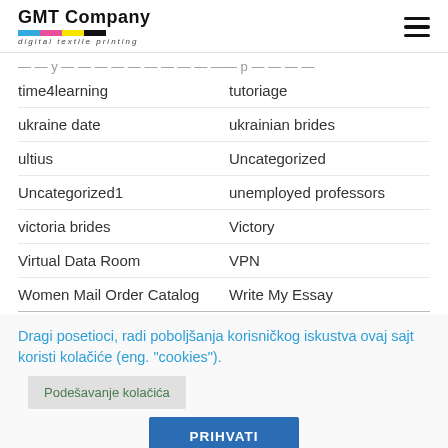GMT Company digital textile printing
time4learning | tutoriage
ukraine date | ukrainian brides
ultius | Uncategorized
Uncategorized1 | unemployed professors
victoria brides | Victory
Virtual Data Room | VPN
Women Mail Order Catalog | Write My Essay
Dragi posetioci, radi poboljšanja korisničkog iskustva ovaj sajt koristi kolačiće (eng. "cookies").
Podešavanje kolačića
PRIHVATI